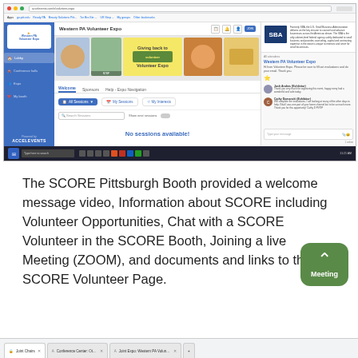[Figure (screenshot): Screenshot of the Western PA Volunteer Expo virtual event platform (AccelEvents). Shows left sidebar with navigation, main area with banner images reading 'Giving back to Volunteer Expo', tabs for Welcome/Sponsors/Help, All Sessions/My Sessions/My Interests buttons, 'No sessions available!' message, and a right panel with SBA logo and chat messages from Josh Andres (Exhibitor) and Cathy Domanski (Exhibitor). Browser taskbar visible at bottom.]
The SCORE Pittsburgh Booth provided a welcome message video, Information about SCORE including Volunteer Opportunities, Chat with a SCORE Volunteer in the SCORE Booth, Joining a live Meeting (ZOOM), and documents and links to the SCORE Volunteer Page.
[Figure (screenshot): Bottom strip showing browser tabs including 'Joint Chairs', 'Conference Center: Other', and 'Joint Expo: Western PA Volun...' with a plus button, and browser navigation controls and URL bar.]